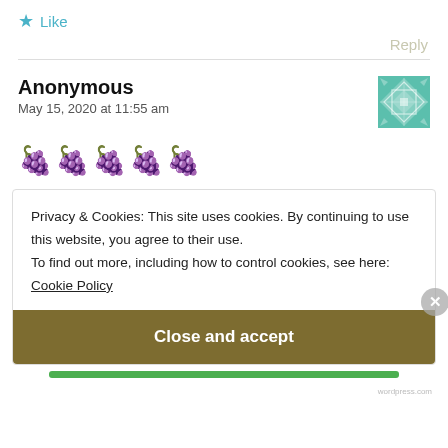★ Like
Reply
Anonymous
May 15, 2020 at 11:55 am
[Figure (illustration): Teal/green geometric quilt-pattern avatar icon]
🍇🍇🍇🍇🍇
Privacy & Cookies: This site uses cookies. By continuing to use this website, you agree to their use.
To find out more, including how to control cookies, see here:
Cookie Policy
Close and accept